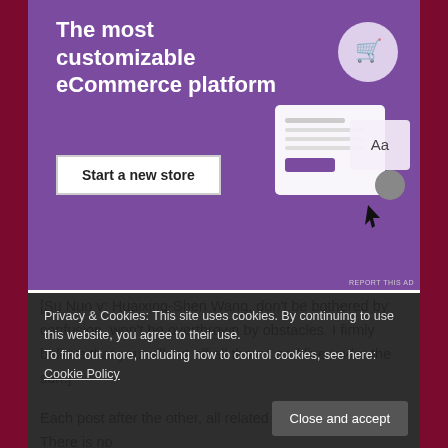[Figure (screenshot): Purple eCommerce platform advertisement banner with white text 'The most customizable eCommerce platform', a white 'Start a new store' button, and illustrated UI mockup showing shopping cart and page editor elements on the right side. Small 'REPORT THIS AD' label at bottom right.]
[Su Nuo v: Huaixing-Shen Wang, don't be bothered by confusion, won't be overthrown by obstacles. I firmly believe that you will cut off all thorns and live under the sun.]
Each post after the other, all related to Shen Wang. There is no
Privacy & Cookies: This site uses cookies. By continuing to use this website, you agree to their use.
To find out more, including how to control cookies, see here: Cookie Policy
Close and accept